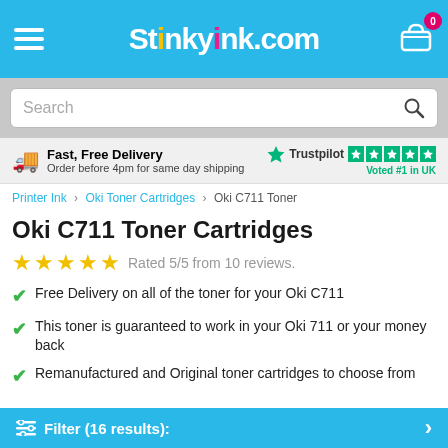Stinkyink.com
Search
Fast, Free Delivery
Order before 4pm for same day shipping
Trustpilot Voted #1 in UK
Printer Ink > Oki Toner Cartridges > Oki C711 Toner
Oki C711 Toner Cartridges
Rated 5/5 from 10 reviews.
Free Delivery on all of the toner for your Oki C711
This toner is guaranteed to work in your Oki 711 or your money back
Remanufactured and Original toner cartridges to choose from
Filter (16 results):